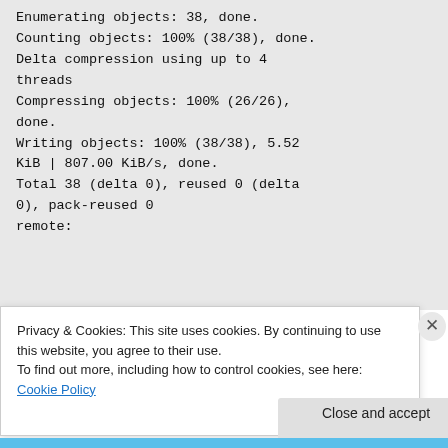Enumerating objects: 38, done.
Counting objects: 100% (38/38), done.
Delta compression using up to 4 threads
Compressing objects: 100% (26/26), done.
Writing objects: 100% (38/38), 5.52 KiB | 807.00 KiB/s, done.
Total 38 (delta 0), reused 0 (delta 0), pack-reused 0
remote:
Privacy & Cookies: This site uses cookies. By continuing to use this website, you agree to their use.
To find out more, including how to control cookies, see here: Cookie Policy
Close and accept